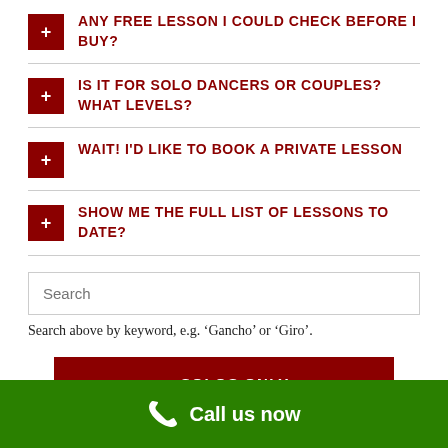ANY FREE LESSON I COULD CHECK BEFORE I BUY?
IS IT FOR SOLO DANCERS OR COUPLES? WHAT LEVELS?
WAIT! I'D LIKE TO BOOK A PRIVATE LESSON
SHOW ME THE FULL LIST OF LESSONS TO DATE?
Search above by keyword, e.g. ‘Gancho’ or ‘Giro’.
··· → SOLOS ONLY ←
Call us now